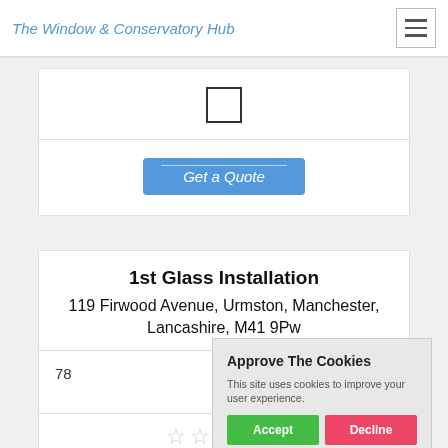The Window & Conservatory Hub
[Figure (screenshot): Checkbox icon (empty square)]
Get a Quote
1st Glass Installation
119 Firwood Avenue, Urmston, Manchester, Lancashire, M41 9Pw
78
[Figure (infographic): Five empty star rating icons]
Approve The Cookies
This site uses cookies to improve your user experience.
Accept  Decline
Cookie policy